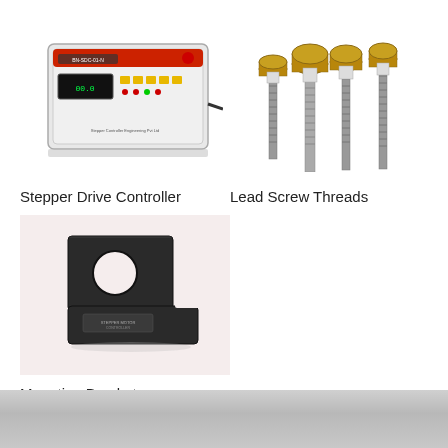[Figure (photo): Stepper Drive Controller - a small electronic control unit with digital display and buttons, mounted in a rectangular enclosure]
Stepper Drive Controller
[Figure (photo): Lead Screw Threads - four threaded lead screws of varying sizes with brass flanged nuts]
Lead Screw Threads
[Figure (photo): Mounting Bracket - a black L-shaped metal mounting bracket with a circular hole]
Mounting Bracket